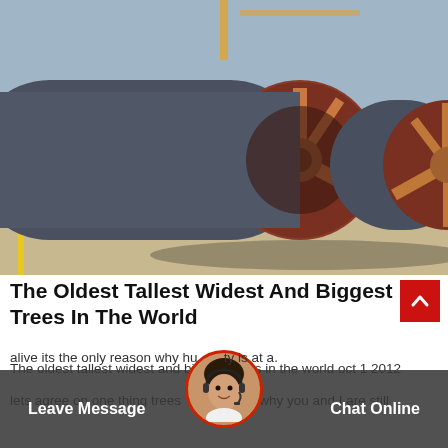[Figure (photo): Large industrial pipes/tubes with circular end flanges and spoke supports, lying horizontally on a concrete surface outdoors. The pipes are gray/dark blue with reddish-brown interior flanges.]
The Oldest Tallest Widest And Biggest Trees In The World
The oldest tallest widest and biggest trees in the world oct 1 2012
lets agree on one thing trees son why you and I are still alive its the only reason why hu ty is at a.
Leave Message   Chat Online